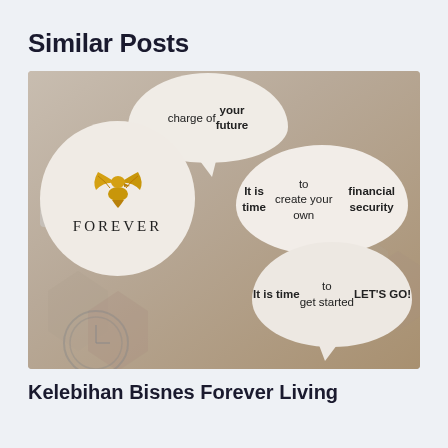Similar Posts
[Figure (illustration): Forever Living promotional image with speech bubbles containing motivational text: 'charge of your future', 'It is time to create your own financial security', 'It is time to get started LET'S GO!' with Forever logo (golden eagle) on left bubble.]
Kelebihan Bisnes Forever Living